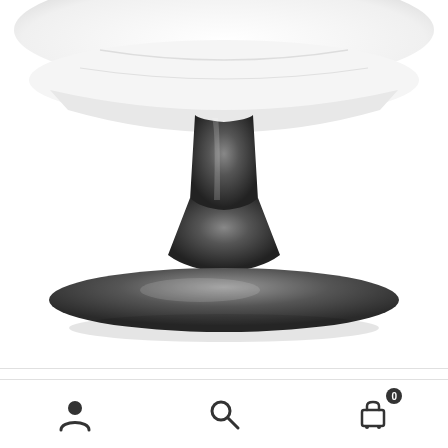[Figure (photo): Product photo of a white leather chair with a dark chrome tulip base, cropped to show the lower portion of the chair including the seat and base.]
BRAZIL-P
€1.230,00  €190,00
Ref: 745006
Last item
Navigation bar with user, search, and cart icons